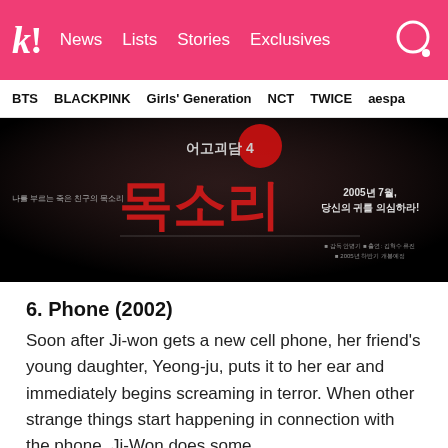K! News  Lists  Stories  Exclusives
BTS  BLACKPINK  Girls' Generation  NCT  TWICE  aespa
[Figure (photo): Korean horror movie poster with dark background showing Korean text including '어고괴담 4' and '목소리' in large red letters, with text '2005년 7월, 당신의 귀를 의심하라!']
6. Phone (2002)
Soon after Ji-won gets a new cell phone, her friend's young daughter, Yeong-ju, puts it to her ear and immediately begins screaming in terror. When other strange things start happening in connection with the phone, Ji-Won does some